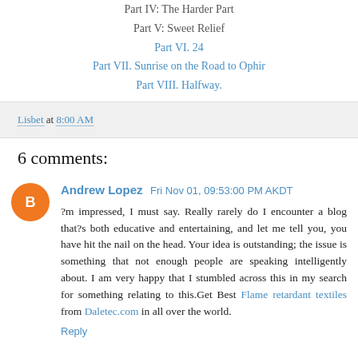Part IV: The Harder Part
Part V: Sweet Relief
Part VI. 24
Part VII. Sunrise on the Road to Ophir
Part VIII. Halfway.
Lisbet at 8:00 AM
6 comments:
Andrew Lopez  Fri Nov 01, 09:53:00 PM AKDT
?m impressed, I must say. Really rarely do I encounter a blog that?s both educative and entertaining, and let me tell you, you have hit the nail on the head. Your idea is outstanding; the issue is something that not enough people are speaking intelligently about. I am very happy that I stumbled across this in my search for something relating to this.Get Best Flame retardant textiles from Daletec.com in all over the world.
Reply